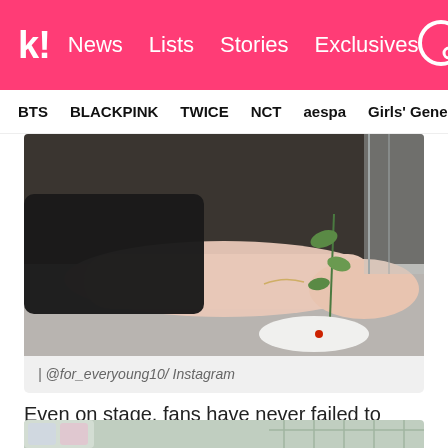k! News  Lists  Stories  Exclusives
BTS  BLACKPINK  TWICE  NCT  aespa  Girls' Generation
[Figure (photo): Close-up of a person's arm resting on a table with a plant in a small white dish, wearing a black outfit and a delicate bracelet.]
| @for_everyoung10/ Instagram
Even on stage, fans have never failed to notice just how much she lights up the stage with the rest of her members.
[Figure (screenshot): Bottom portion of a TV show screenshot with a colorful logo in the lower left corner and a window/door pattern visible.]